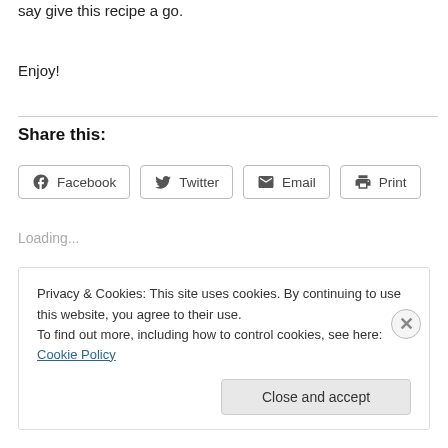say give this recipe a go.
Enjoy!
Share this:
Facebook  Twitter  Email  Print
Loading...
Privacy & Cookies: This site uses cookies. By continuing to use this website, you agree to their use.
To find out more, including how to control cookies, see here: Cookie Policy
Close and accept